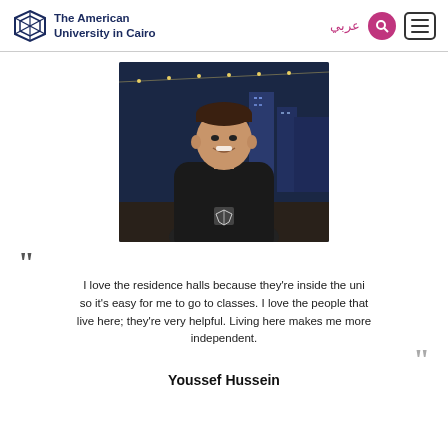The American University in Cairo
[Figure (photo): Young man smiling, wearing a black hoodie with a logo, standing outdoors at night with lights and buildings in background]
I love the residence halls because they're inside the uni so it's easy for me to go to classes. I love the people that live here; they're very helpful. Living here makes me more independent.
Youssef Hussein